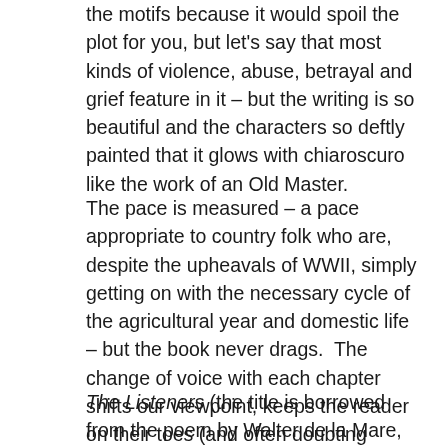the motifs because it would spoil the plot for you, but let's say that most kinds of violence, abuse, betrayal and grief feature in it – but the writing is so beautiful and the characters so deftly painted that it glows with chiaroscuro like the work of an Old Master.
The pace is measured – a pace appropriate to country folk who are, despite the upheavals of WWII, simply getting on with the necessary cycle of the agricultural year and domestic life – but the book never drags.  The change of voice with each chapter shifts our viewpoint, keeps the reader on their toes (and often doubting everything they've just read in the previous chapter).  And the ending – with the reader now knowing something which the protagonists do not – is genius.
The Listeners (the title is borrowed from the poem by Walter de la Mare, for reasons which will be come